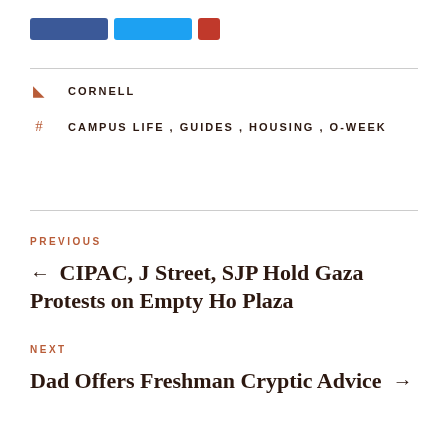CORNELL
CAMPUS LIFE, GUIDES, HOUSING, O-WEEK
PREVIOUS
← CIPAC, J Street, SJP Hold Gaza Protests on Empty Ho Plaza
NEXT
Dad Offers Freshman Cryptic Advice →